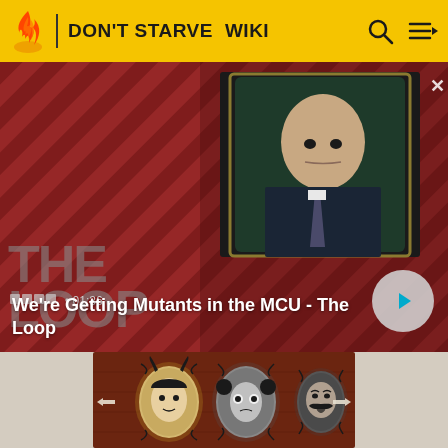DON'T STARVE WIKI
[Figure (screenshot): Video banner showing 'We're Getting Mutants in the MCU - The Loop' with a bald man in a suit sitting in a chair, red diagonal striped background, The Loop logo, timestamp 01:36, and a play button]
We're Getting Mutants in the MCU - The Loop
[Figure (screenshot): Don't Starve game banner showing three character portraits in oval frames on a dark red wooden background, with navigation arrows on sides]